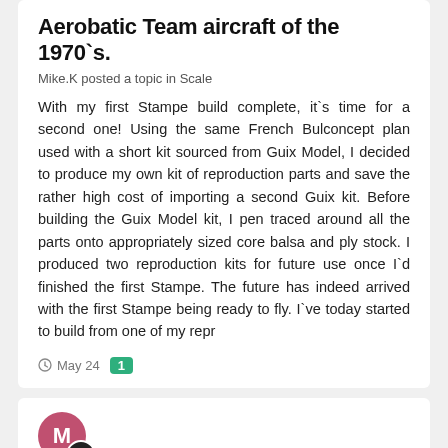Aerobatic Team aircraft of the 1970`s.
Mike.K posted a topic in Scale
With my first Stampe build complete, it`s time for a second one! Using the same French Bulconcept plan used with a short kit sourced from Guix Model, I decided to produce my own kit of reproduction parts and save the rather high cost of importing a second Guix kit. Before building the Guix Model kit, I pen traced around all the parts onto appropriately sized core balsa and ply stock. I produced two reproduction kits for future use once I`d finished the first Stampe. The future has indeed arrived with the first Stampe being ready to fly. I`ve today started to build from one of my repr
May 24  1
[Figure (illustration): User avatar: pink circle with letter M and a dark circular chat/reply badge]
Unusual 66" Stampe SV4 build from a French short kit. Designer, Laurent Buissyne. Kit maker, Guixmodel.